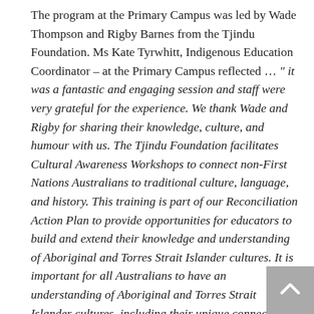The program at the Primary Campus was led by Wade Thompson and Rigby Barnes from the Tjindu Foundation. Ms Kate Tyrwhitt, Indigenous Education Coordinator – at the Primary Campus reflected … " it was a fantastic and engaging session and staff were very grateful for the experience. We thank Wade and Rigby for sharing their knowledge, culture, and humour with us. The Tjindu Foundation facilitates Cultural Awareness Workshops to connect non-First Nations Australians to traditional culture, language, and history. This training is part of our Reconciliation Action Plan to provide opportunities for educators to build and extend their knowledge and understanding of Aboriginal and Torres Strait Islander cultures. It is important for all Australians to have an understanding of Aboriginal and Torres Strait Islander cultures, including their unique connection to the land, seas, skies and waterways. Cultural competence opportunities can help to improve the level of knowledge